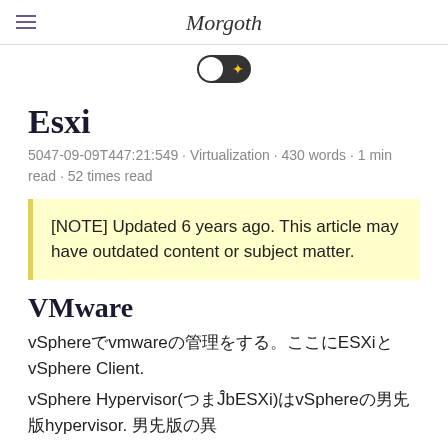Morgoth
[Figure (other): Dark mode toggle switch (pill-shaped, dark background with a sun/star icon on the right side)]
Esxi
5047-09-09T447:21:549 · Virtualization · 430 words · 1 min read · 52 times read
[NOTE] Updated 6 years ago. This article may have outdated content or subject matter.
VMware
vSphereでvmwareの管理をする。ここにESXiとvSphere Client.
vSphere Hypervisor(つまvESXi)はvSphereの無償版hypervisor. 無償版の特徴